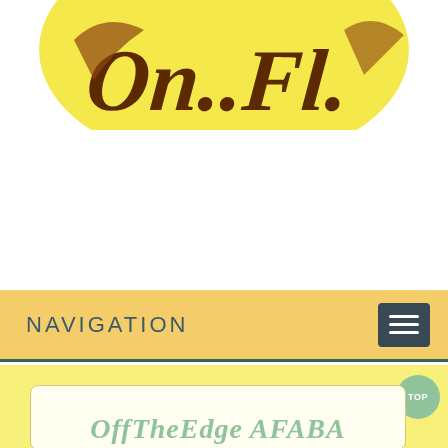[Figure (logo): Website logo with brown stylized text on a yellow/gold circular background, partially cropped at top]
NAVIGATION
[Figure (other): Hamburger menu icon button (three horizontal lines) in dark gray/charcoal rounded rectangle]
TOP
OffTheEdge AFABA